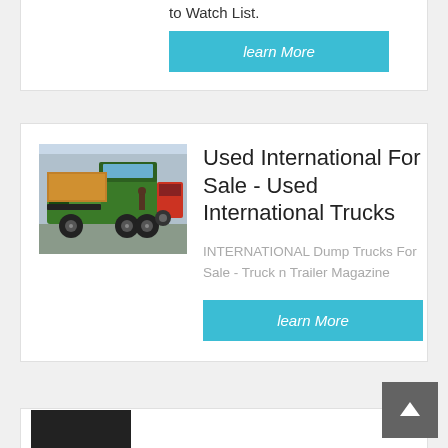to Watch List.
learn More
[Figure (photo): Green dump truck (International brand) parked in a lot, front-left view, with a red truck visible behind it.]
Used International For Sale - Used International Trucks
INTERNATIONAL Dump Trucks For Sale - Truck n Trailer Magazine
learn More